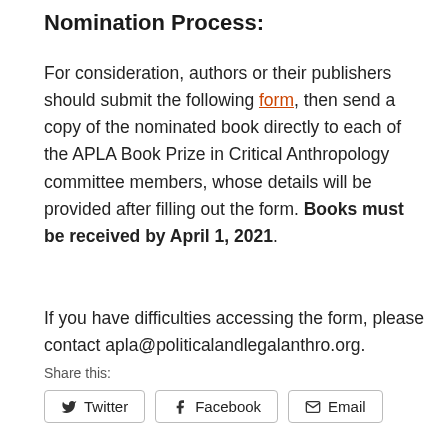Nomination Process:
For consideration, authors or their publishers should submit the following form, then send a copy of the nominated book directly to each of the APLA Book Prize in Critical Anthropology committee members, whose details will be provided after filling out the form. Books must be received by April 1, 2021.
If you have difficulties accessing the form, please contact apla@politicalandlegalanthro.org.
Share this:
Twitter  Facebook  Email